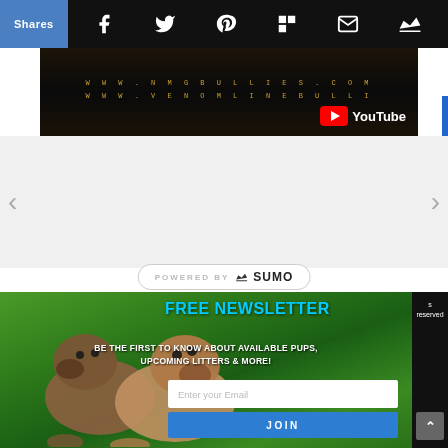[Figure (screenshot): Social sharing bar with Shares button and icons for Facebook, Twitter, Pinterest, Flipboard, Email, and Sumo crown]
[Figure (screenshot): YouTube video thumbnail showing www.nmgbullies.com and www.venomlinebullie URLs with YouTube logo]
[Figure (screenshot): Content slideshow area with left and right navigation arrows on gray background]
POWERED BY SUMO
[Figure (photo): Two American Bully dogs on green grass background with Free Newsletter signup form]
FREE NEWSLETTER
BE THE FIRST TO KNOW ABOUT AVAILABLE PUPS, UPCOMING LITTERS & MORE!
Enter your Email
JOIN
s reserved